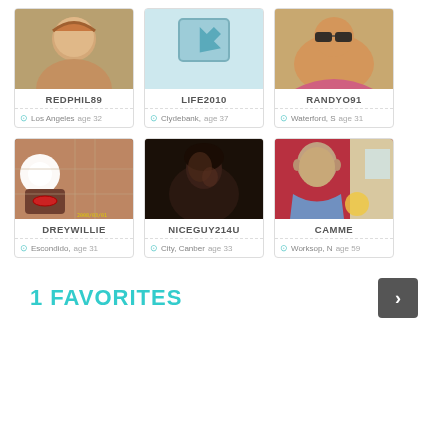[Figure (photo): Profile photo of REDPHIL89 - young person smiling]
REDPHIL89
Los Angeles age 32
[Figure (photo): Profile photo placeholder for LIFE2010 - default avatar icon]
LIFE2010
Clydebank, age 37
[Figure (photo): Profile photo of RANDYO91 - person wearing sunglasses]
RANDYO91
Waterford, S age 31
[Figure (photo): Profile photo of DREYWILLIE - selfie with bright flash]
DREYWILLIE
Escondido, age 31
[Figure (photo): Profile photo of NICEGUY214U - dark photo of person]
NICEGUY214U
City, Canberra age 33
[Figure (photo): Profile photo of CAMME - middle-aged person in blue shirt]
CAMME
Worksop, N age 59
1 FAVORITES